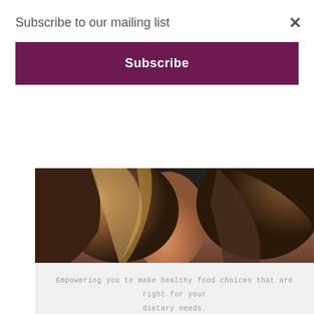Subscribe to our mailing list
Subscribe
[Figure (photo): Close-up photo of a woman with brown curly/wavy hair and a dark top, cropped showing hair and neck region]
Empowering you to make healthy food choices that are right for your dietary needs.
SPECIAL DIET:
DAIRY FREE
GLUTEN FREE
LOW SUGAR